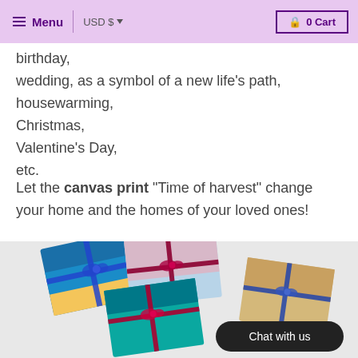Menu | USD $ ▾  🔒 0 Cart
birthday,
wedding, as a symbol of a new life's path,
housewarming,
Christmas,
Valentine's Day,
etc.
Let the canvas print "Time of harvest" change your home and the homes of your loved ones!
[Figure (photo): Several canvas prints wrapped with ribbons and bows displayed as gifts, showing seascape, bird, ocean wave, and map themes. A dark 'Chat with us' button overlaid bottom right.]